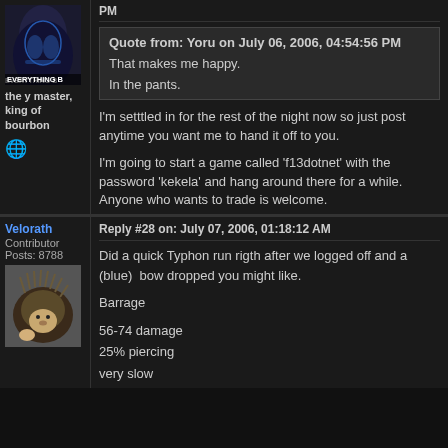PM
Quote from: Yoru on July 06, 2006, 04:54:56 PM

That makes me happy.

In the pants.
I'm setttled in for the rest of the night now so just post anytime you want me to hand it off to you.
the y master, king of bourbon
I'm going to start a game called 'f13dotnet' with the password 'kekela' and hang around there for a while. Anyone who wants to trade is welcome.
Velorath
Contributor
Posts: 8788
Reply #28 on: July 07, 2006, 01:18:12 AM
Did a quick Typhon run rigth after we logged off and a (blue)  bow dropped you might like.

Barrage

56-74 damage
25% piercing
very slow